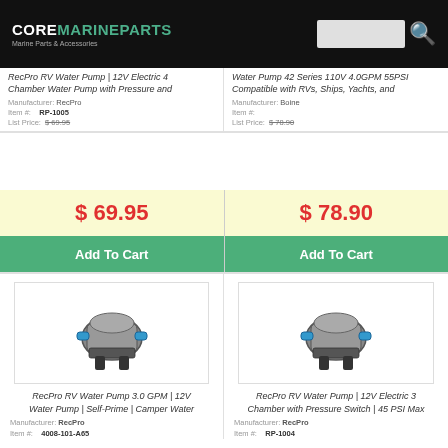COREMARINEPARTS Marine Parts & Accessories
RecPro RV Water Pump | 12V Electric 4 Chamber Water Pump with Pressure and
Manufacturer: RecPro
Item #: RP-1005
List Price: $69.95
Water Pump 42 Series 110V 4.0GPM 55PSI Compatible with RVs, Ships, Yachts, and
Manufacturer: Boine
Item #:
List Price: $78.90
$ 69.95
Add To Cart
$ 78.90
Add To Cart
[Figure (photo): RecPro RV water pump product image]
RecPro RV Water Pump 3.0 GPM | 12V Water Pump | Self-Prime | Camper Water
Manufacturer: RecPro
Item #: 4008-101-A65
[Figure (photo): RecPro RV water pump product image]
RecPro RV Water Pump | 12V Electric 3 Chamber with Pressure Switch | 45 PSI Max
Manufacturer: RecPro
Item #: RP-1004